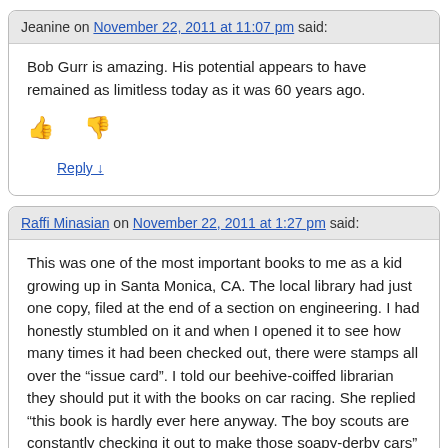Jeanine on November 22, 2011 at 11:07 pm said:
Bob Gurr is amazing. His potential appears to have remained as limitless today as it was 60 years ago.
Reply ↓
Raffi Minasian on November 22, 2011 at 1:27 pm said:
This was one of the most important books to me as a kid growing up in Santa Monica, CA. The local library had just one copy, filed at the end of a section on engineering. I had honestly stumbled on it and when I opened it to see how many times it had been checked out, there were stamps all over the "issue card". I told our beehive-coiffed librarian they should put it with the books on car racing. She replied "this book is hardly ever here anyway. The boy scouts are constantly checking it out to make those soapy-derby cars"
So began my career in car design. This and the Jenks book